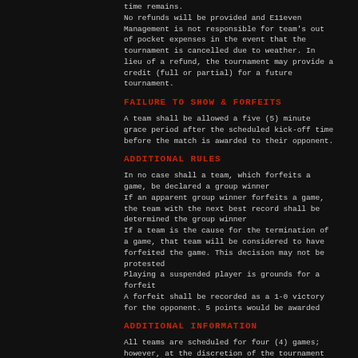time remains. No refunds will be provided and E11even Management is not responsible for team's out of pocket expenses in the event that the tournament is cancelled due to weather. In lieu of a refund, the tournament may provide a credit (full or partial) for a future tournament.
FAILURE TO SHOW & FORFEITS
A team shall be allowed a five (5) minute grace period after the scheduled kick-off time before the match is awarded to their opponent.
ADDITIONAL RULES
In no case shall a team, which forfeits a game, be declared a group winner
If an apparent group winner forfeits a game, the team with the next best record shall be determined the group winner
If a team is the cause for the termination of a game, that team will be considered to have forfeited the game. This decision may not be protested
Playing a suspended player is grounds for a forfeit
A forfeit shall be recorded as a 1-0 victory for the opponent. 5 points would be awarded
ADDITIONAL INFORMATION
All teams are scheduled for four (4) games; however, at the discretion of the tournament director, the number of games may be reduced due to exceptional circumstances.